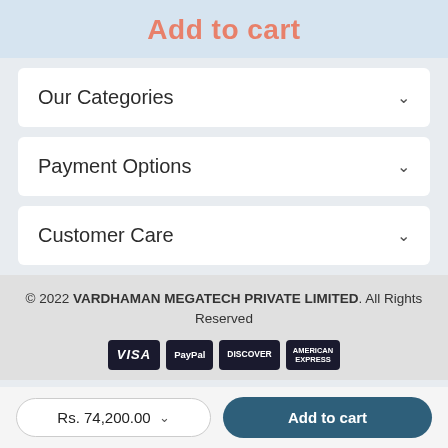Add to cart
Our Categories
Payment Options
Customer Care
© 2022 VARDHAMAN MEGATECH PRIVATE LIMITED. All Rights Reserved
[Figure (logo): Payment method logos: VISA, PayPal, Discover, American Express]
Rs. 74,200.00
Add to cart